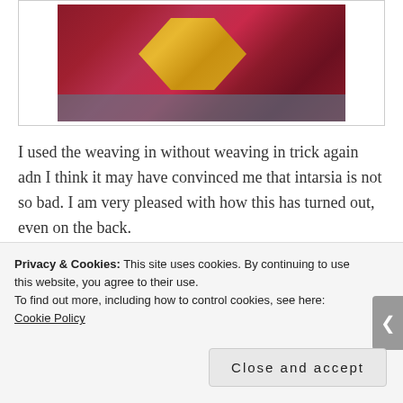[Figure (photo): Close-up photo of red/crimson knitted fabric with a yellow/gold diamond or bolt-shaped intarsia pattern in the center, lying on a blue-grey surface.]
I used the weaving in without weaving in trick again adn I think it may have convinced me that intarsia is not so bad. I am very pleased with how this has turned out, even on the back.
A nice surprise was waiting for me when we came back: my No Sheep Swap package came!
[Figure (photo): Partial photo of a package or wrapped item, mostly dark, with reddish/brown tones visible on the right edge.]
Privacy & Cookies: This site uses cookies. By continuing to use this website, you agree to their use.
To find out more, including how to control cookies, see here: Cookie Policy
Close and accept